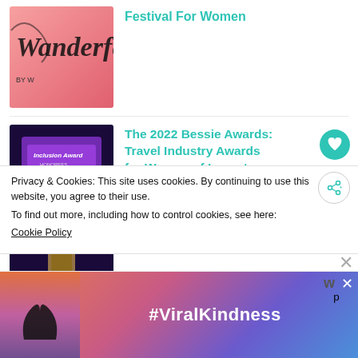[Figure (photo): Wanderful logo on pink background, partially cropped]
Festival For Women
[Figure (photo): Bessie Awards ceremony photo showing Inclusion Award signage with people on stage]
The 2022 Bessie Awards: Travel Industry Awards for Women of Impact
[Figure (photo): Dark travel/airport scene, partially cropped]
Wondering How to Travel in this
Privacy & Cookies: This site uses cookies. By continuing to use this website, you agree to their use. To find out more, including how to control cookies, see here: Cookie Policy
[Figure (advertisement): Ad banner with #ViralKindness text over colorful sunset background with silhouette of hands making heart shape]